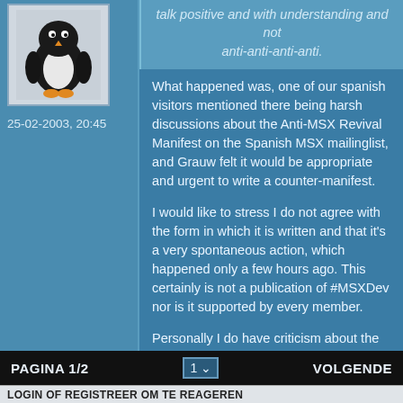talk positive and with understanding and not anti-anti-anti-anti.
[Figure (illustration): Avatar image of a cartoon penguin silhouette on a light grey background]
25-02-2003, 20:45
What happened was, one of our spanish visitors mentioned there being harsh discussions about the Anti-MSX Revival Manifest on the Spanish MSX mailinglist, and Grauw felt it would be appropriate and urgent to write a counter-manifest.
I would like to stress I do not agree with the form in which it is written and that it's a very spontaneous action, which happened only a few hours ago. This certainly is not a publication of #MSXDev nor is it supported by every member.
Personally I do have criticism about the manifest, which you can read in other threads in this forum. Since then, the manifest seems to have gone through some revisions and some of the critique is now invalid. However, any criticism should not be written in such a way...
PAGINA 1/2   1 ∨   VOLGENDE
LOGIN OF REGISTREER OM TE REAGEREN